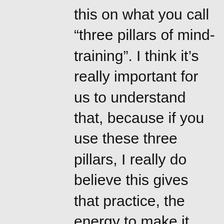this on what you call “three pillars of mind-training”. I think it’s really important for us to understand that, because if you use these three pillars, I really do believe this gives that practice, the energy to make it succeed. Do you mind going through the three pillars of mind-training?